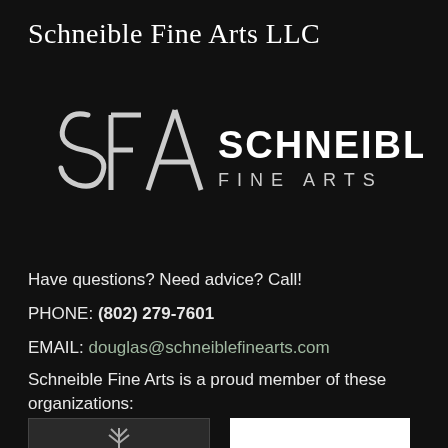Schneible Fine Arts LLC
[Figure (logo): Schneible Fine Arts logo with stylized SFA monogram and text SCHNEIBLE FINE ARTS]
Have questions? Need advice? Call!
PHONE: (802) 279-7601
EMAIL: douglas@schneiblefinearts.com
Schneible Fine Arts is a proud member of these organizations:
[Figure (logo): Two organization member logos at bottom of page]